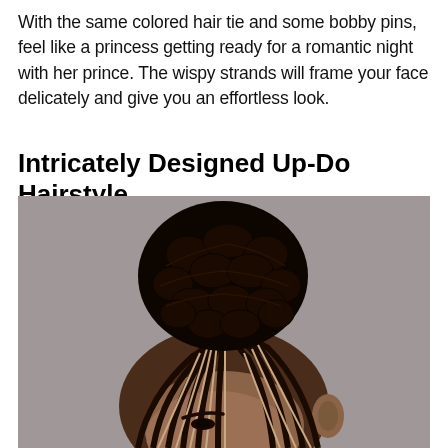With the same colored hair tie and some bobby pins, feel like a princess getting ready for a romantic night with her prince. The wispy strands will frame your face delicately and give you an effortless look.
Intricately Designed Up-Do Hairstyle
[Figure (photo): Close-up photo of a Black woman with an intricately designed up-do hairstyle featuring cornrow braids gathered upward into a large chunky bun at the top of the head, against a gray background.]